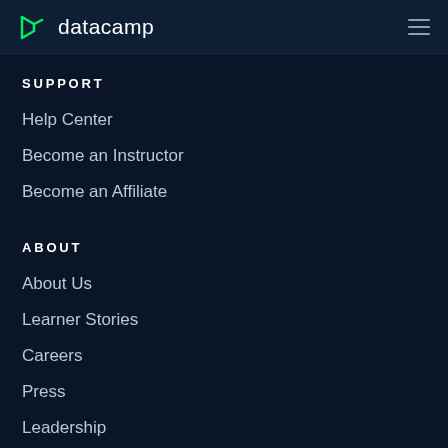datacamp
SUPPORT
Help Center
Become an Instructor
Become an Affiliate
ABOUT
About Us
Learner Stories
Careers
Press
Leadership